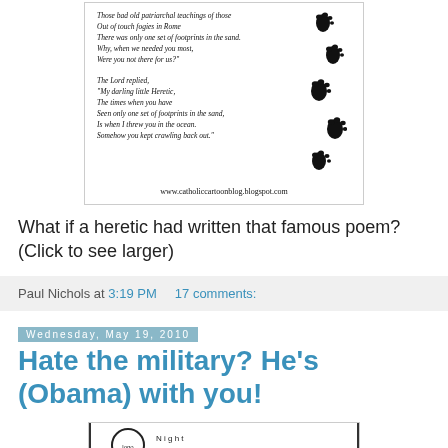[Figure (illustration): Catholic cartoon blog image showing a parody of the Footprints poem with footprint graphics on the right side, featuring italic poem text and website URL www.catholiccartoonblog.blogspot.com]
What if a heretic had written that famous poem? (Click to see larger)
Paul Nichols at 3:19 PM   17 comments:
Wednesday, May 19, 2010
Hate the military? He's (Obama) with you!
[Figure (illustration): Bottom portion of another cartoon image, partially visible]